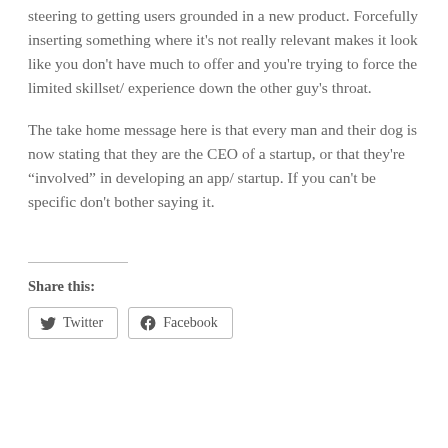steering to getting users grounded in a new product. Forcefully inserting something where it’s not really relevant makes it look like you don’t have much to offer and you’re trying to force the limited skillset/ experience down the other guy’s throat.
The take home message here is that every man and their dog is now stating that they are the CEO of a startup, or that they’re “involved” in developing an app/ startup. If you can’t be specific don't bother saying it.
Share this:
Twitter  Facebook